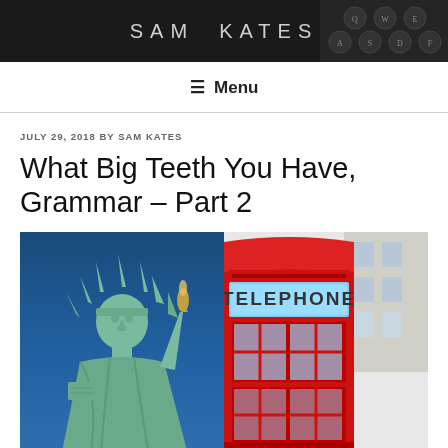SAM KATES
≡ Menu
JULY 29, 2018 BY SAM KATES
What Big Teeth You Have, Grammar – Part 2
[Figure (photo): Split image: left half shows Statue of Liberty against blue sky, right half shows a red London telephone box with TELEPHONE text visible]